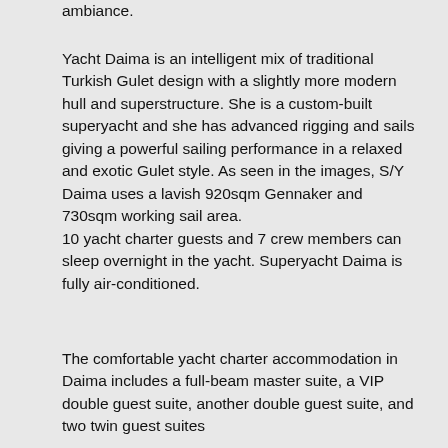ambiance.
Yacht Daima is an intelligent mix of traditional Turkish Gulet design with a slightly more modern hull and superstructure. She is a custom-built superyacht and she has advanced rigging and sails giving a powerful sailing performance in a relaxed and exotic Gulet style. As seen in the images, S/Y Daima uses a lavish 920sqm Gennaker and 730sqm working sail area. 10 yacht charter guests and 7 crew members can sleep overnight in the yacht. Superyacht Daima is fully air-conditioned.
The comfortable yacht charter accommodation in Daima includes a full-beam master suite, a VIP double guest suite, another double guest suite, and two twin guest suites